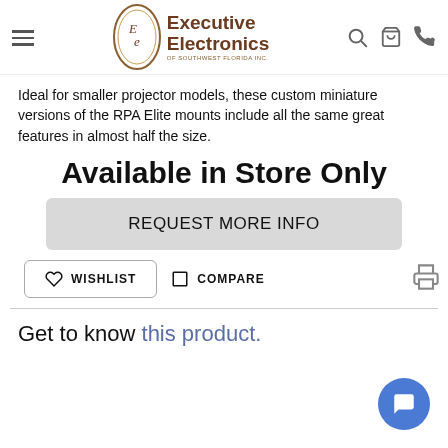Executive Electronics of Southwest Florida Inc.
Ideal for smaller projector models, these custom miniature versions of the RPA Elite mounts include all the same great features in almost half the size.
Available in Store Only
REQUEST MORE INFO
WISHLIST
COMPARE
Get to know this product.